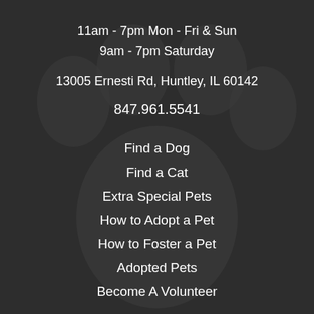11am - 7pm Mon - Fri & Sun
9am - 7pm Saturday
13005 Ernesti Rd, Huntley, IL 60142
847.961.5541
Find a Dog
Find a Cat
Extra Special Pets
How to Adopt a Pet
How to Foster a Pet
Adopted Pets
Become A Volunteer